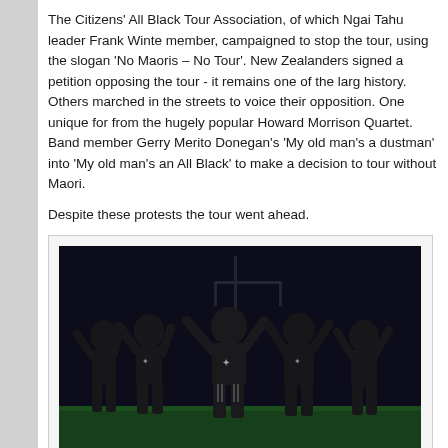The Citizens' All Black Tour Association, of which Ngai Tahu leader Frank Winte member, campaigned to stop the tour, using the slogan 'No Maoris – No Tour'. New Zealanders signed a petition opposing the tour - it remains one of the larg history. Others marched in the streets to voice their opposition. One unique for from the hugely popular Howard Morrison Quartet. Band member Gerry Merito Donegan's 'My old man's a dustman' into 'My old man's an All Black' to make a decision to tour without Maori.
Despite these protests the tour went ahead.
[Figure (photo): All Blacks rugby team performing the haka on a field at night, players in black uniforms with silver fern logos, arms raised and in traditional haka stance]
Therefore it was with some satisfaction last weekend that I read that South Afri its first indication it is willing to apologise to Maori over their non-selection in Al